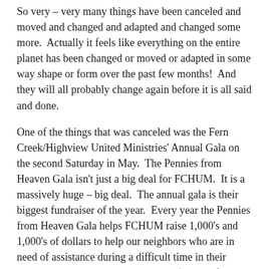So very – very many things have been canceled and moved and changed and adapted and changed some more.  Actually it feels like everything on the entire planet has been changed or moved or adapted in some way shape or form over the past few months!  And they will all probably change again before it is all said and done.
One of the things that was canceled was the Fern Creek/Highview United Ministries' Annual Gala on the second Saturday in May.  The Pennies from Heaven Gala isn't just a big deal for FCHUM.  It is a massively huge – big deal.  The annual gala is their biggest fundraiser of the year.  Every year the Pennies from Heaven Gala helps FCHUM raise 1,000's and 1,000's of dollars to help our neighbors who are in need of assistance during a difficult time in their lives.  Last year the Gala raised over $27,000 for the powerful, life-changing ministry they do each week at FCHUM.